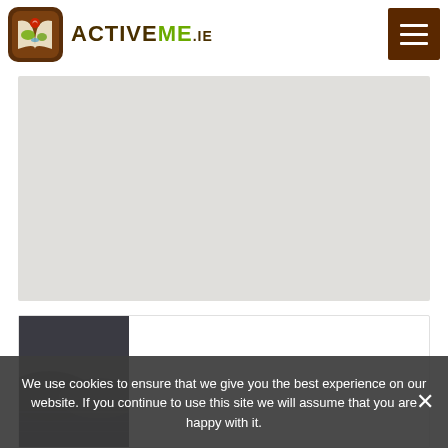[Figure (logo): ActiveMe.ie logo — stylized open book with map and location pin, in a rounded square brown frame, next to bold text ACTIVEME.ie]
[Figure (screenshot): Embedded map area showing a light grey map placeholder]
[Figure (photo): Partial photo of a dark moody landscape with water, partially visible at the bottom of the page]
We use cookies to ensure that we give you the best experience on our website. If you continue to use this site we will assume that you are happy with it.